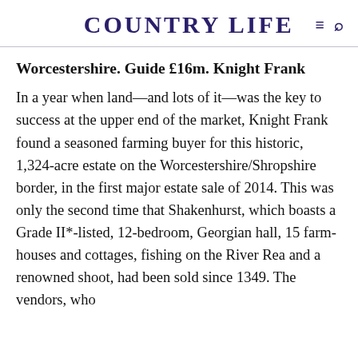COUNTRY LIFE
Worcestershire. Guide £16m. Knight Frank
In a year when land—and lots of it—was the key to success at the upper end of the market, Knight Frank found a seasoned farming buyer for this historic, 1,324-acre estate on the Worcestershire/Shropshire border, in the first major estate sale of 2014. This was only the second time that Shakenhurst, which boasts a Grade II*-listed, 12-bedroom, Georgian hall, 15 farm- houses and cottages, fishing on the River Rea and a renowned shoot, had been sold since 1349. The vendors, who